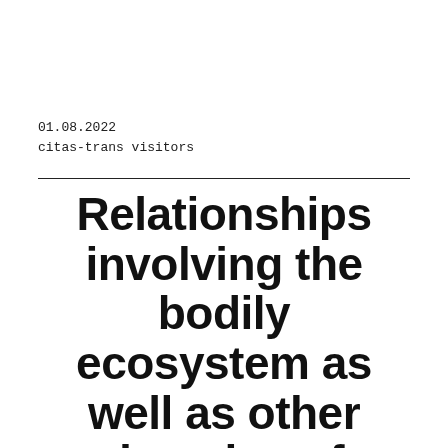01.08.2022
citas-trans visitors
Relationships involving the bodily ecosystem as well as other domains of physical activity between th